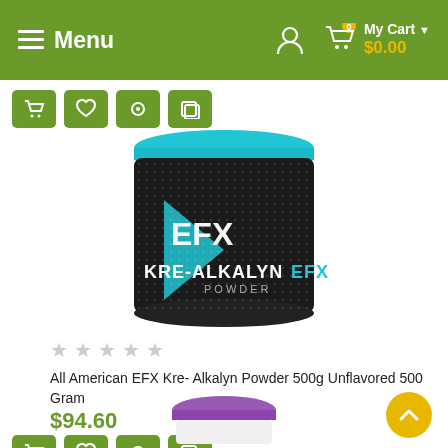Menu | My Cart $0.00
[Figure (photo): EFX Kre-Alkalyn Powder 500g supplement container with teal lid and black body]
All American EFX Kre-Alkalyn Powder 500g Unflavored 500 Gram
$94.60
[Figure (photo): Partial view of a supplement bottle with purple cap at bottom of page]